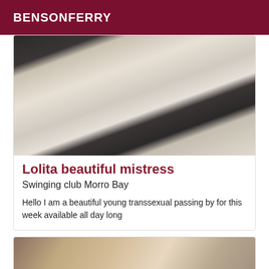BENSONFERRY
[Figure (photo): Photo of person in black lingerie and stockings on white bedding]
Lolita beautiful mistress
Swinging club Morro Bay
Hello I am a beautiful young transsexual passing by for this week available all day long
[Figure (photo): Photo of person with blonde hair, partial view]